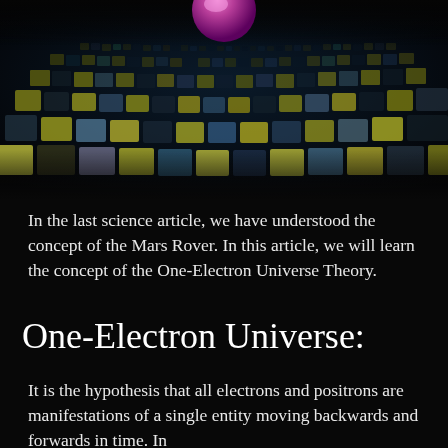[Figure (illustration): Dark background with a grid of glowing yellow and teal/blue square tiles arranged in a perspective pattern, with a pink/magenta spherical object partially visible at the top center.]
In the last science article, we have understood the concept of the Mars Rover. In this article, we will learn the concept of the One-Electron Universe Theory.
One-Electron Universe:
It is the hypothesis that all electrons and positrons are manifestations of a single entity moving backwards and forwards in time. In